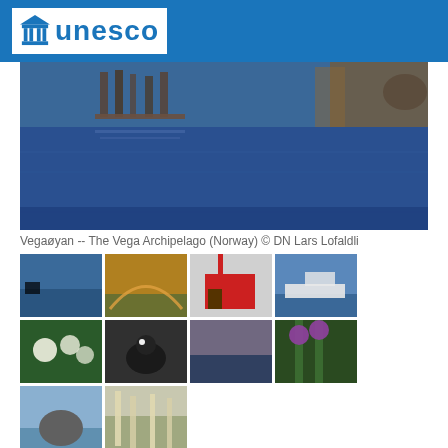UNESCO
[Figure (photo): Wide landscape photo of the Vega Archipelago showing blue water with reflections and structures in background]
Vegaøyan -- The Vega Archipelago (Norway) © DN Lars Lofaldli
[Figure (photo): Thumbnail gallery of 10 photos of the Vega Archipelago including landscapes, wildlife, buildings, and seascapes]
Outstanding Universal Value
Brief synthesis
The Vega Archipelago is a shallow-water area just south of the Arctic Circle, on the west coast of Norway – an